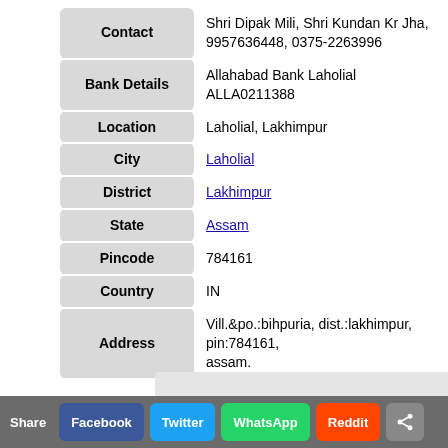| Field | Value |
| --- | --- |
| Contact | Shri Dipak Mili, Shri Kundan Kr Jha, 9957636448, 0375-2263996 |
| Bank Details | Allahabad Bank Laholial ALLA0211388 |
| Location | Laholial, Lakhimpur |
| City | Laholial |
| District | Lakhimpur |
| State | Assam |
| Pincode | 784161 |
| Country | IN |
| Address | Vill.&po.:bihpuria, dist.:lakhimpur, pin:784161, assam. |